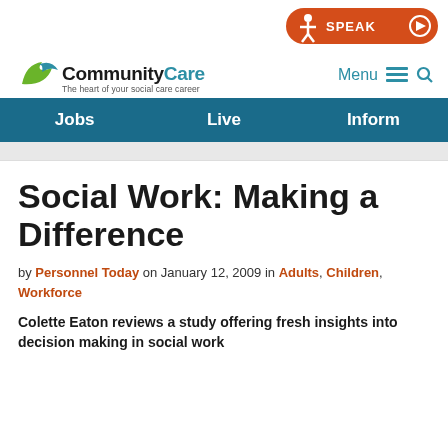[Figure (logo): CommunityCare logo with green/blue wave graphic and tagline 'The heart of your social care career']
[Figure (other): Orange SPEAK button with person icon and play circle]
Menu  🔍
Jobs   Live   Inform
Social Work: Making a Difference
by Personnel Today on January 12, 2009 in Adults, Children, Workforce
Colette Eaton reviews a study offering fresh insights into decision making in social work